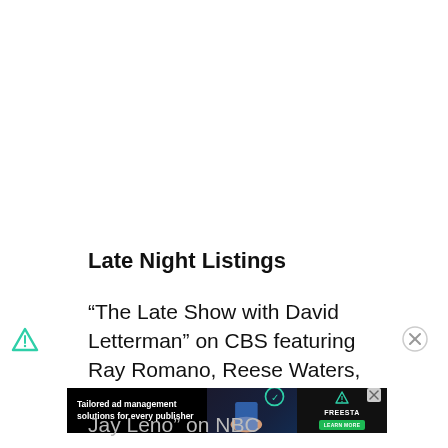Late Night Listings
“The Late Show with David Letterman” on CBS featuring Ray Romano, Reese Waters, and Arctic Monkeys
[Figure (other): Advertisement banner: Tailored ad management solutions for every publisher - Freestar LEARN MORE]
Jay Leno” on NBC